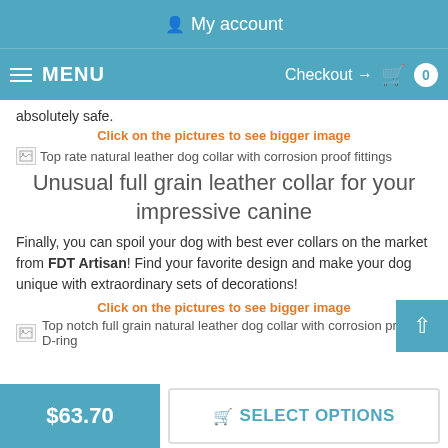My account
MENU   Checkout → 0
absolutely safe.
Click on the pictures to see bigger image
[Figure (photo): Top rate natural leather dog collar with corrosion proof fittings - broken image placeholder]
Unusual full grain leather collar for your impressive canine
Finally, you can spoil your dog with best ever collars on the market from FDT Artisan! Find your favorite design and make your dog unique with extraordinary sets of decorations!
Click on the pictures to see bigger image
[Figure (photo): Top notch full grain natural leather dog collar with corrosion proof D-ring - broken image placeholder]
$63.70   SELECT OPTIONS